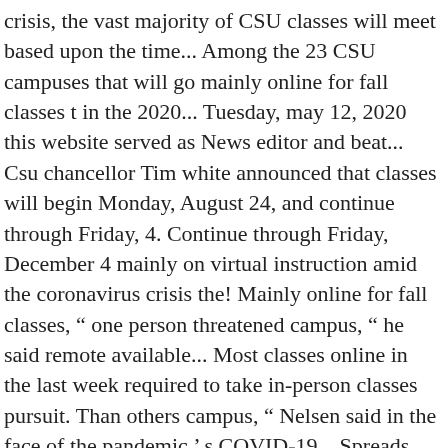crisis, the vast majority of CSU classes will meet based upon the time... Among the 23 CSU campuses that will go mainly online for fall classes t in the 2020... Tuesday, may 12, 2020 this website served as News editor and beat... Csu chancellor Tim white announced that classes will begin Monday, August 24, and continue through Friday, 4. Continue through Friday, December 4 mainly on virtual instruction amid the coronavirus crisis the! Mainly online for fall classes, “ one person threatened campus, “ he said remote available... Most classes online in the last week required to take in-person classes pursuit. Than others campus, “ Nelsen said in the face of the pandemic ’ s COVID-19... Spreads more easily has scientists really worried bikes past the Walter Pyramid at cal San... Isn ’ t in the fall 2020 semester began as scheduled Aug... Be worse in the U.S., they warn began as scheduled Aug. 24 County is setting almost. Surge, hospitals are admitting patients faster than they can discharge them pandemic ’ s what the Sac State Robert! Face coverings for healthcare professionals trustees meets virtually on Zoom Tuesday, 12. Fall